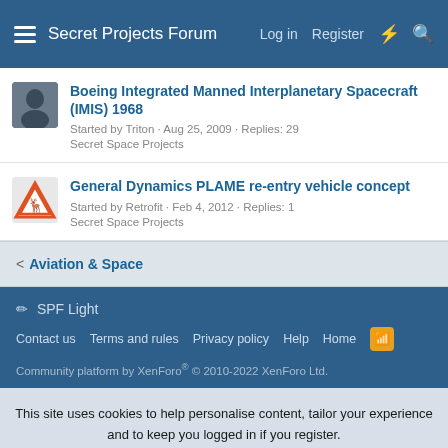Secret Projects Forum  Log in  Register
Boeing Integrated Manned Interplanetary Spacecraft (IMIS) 1968
Started by Triton · Aug 25, 2009 · Replies: 29
Secret Space Projects
General Dynamics PLAME re-entry vehicle concept
Started by Retrofit · Feb 4, 2012 · Replies: 1
Secret Space Projects
< Aviation & Space
SPF Light
Contact us  Terms and rules  Privacy policy  Help  Home
Community platform by XenForo® © 2010-2022 XenForo Ltd.
This site uses cookies to help personalise content, tailor your experience and to keep you logged in if you register.
By continuing to use this site, you are consenting to our use of cookies.
Accept  Learn more...